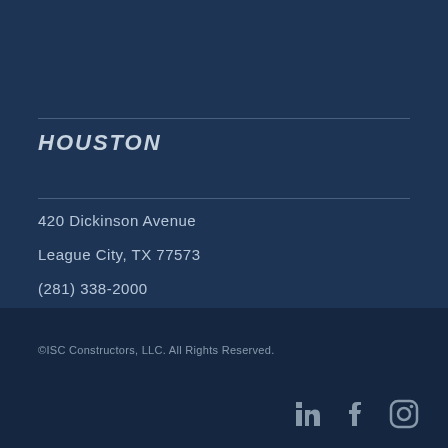HOUSTON
420 Dickinson Avenue
League City, TX 77573
(281) 338-2000
©ISC Constructors, LLC. All Rights Reserved.
[Figure (logo): Social media icons: LinkedIn, Facebook, Instagram]